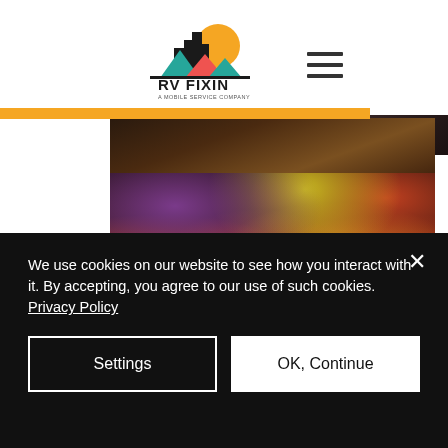[Figure (logo): RV FIXIN - A Mobile Service Company logo with city skyline, mountains, and sunset graphic]
[Figure (photo): Hamburger menu icon (three horizontal lines)]
[Figure (photo): Blurred dark background photograph in top right corner]
[Figure (photo): Blurred dark interior photograph]
[Figure (photo): Blurred colorful product/shelf photograph with multiple colored items in grid layout]
We use cookies on our website to see how you interact with it. By accepting, you agree to our use of such cookies. Privacy Policy
Settings
OK, Continue